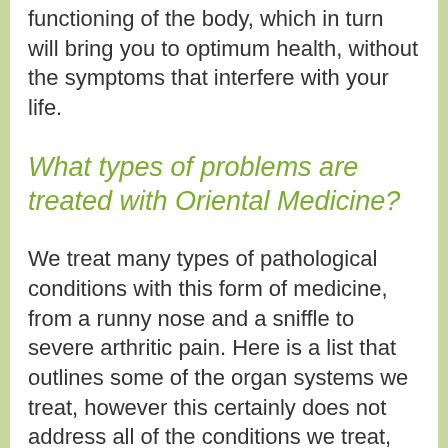functioning of the body, which in turn will bring you to optimum health, without the symptoms that interfere with your life.
What types of problems are treated with Oriental Medicine?
We treat many types of pathological conditions with this form of medicine, from a runny nose and a sniffle to severe arthritic pain. Here is a list that outlines some of the organ systems we treat, however this certainly does not address all of the conditions we treat, because what we treat is the body as a whole, if it doesn't work with the body as a whole,